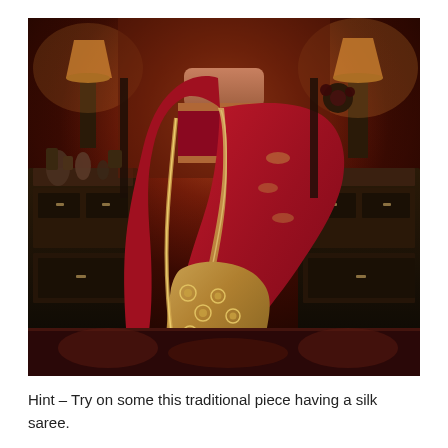[Figure (photo): A woman wearing a traditional Indian bridal silk saree in deep red/maroon with heavily embroidered gold border and pallu. She stands in an ornately decorated dark interior room with antique furniture, lamps, and decorative items in the background. The lower portion of the saree displays an embroidered gold and black pattern.]
Hint – Try on some this traditional piece having a silk saree.